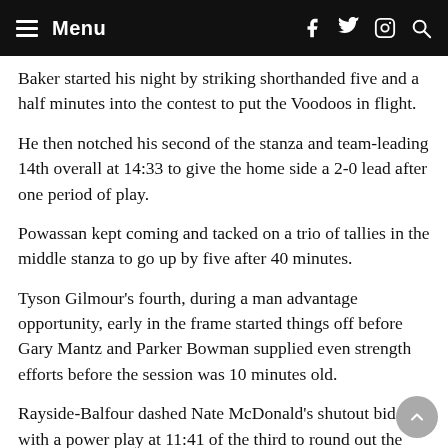Menu
Baker started his night by striking shorthanded five and a half minutes into the contest to put the Voodoos in flight.
He then notched his second of the stanza and team-leading 14th overall at 14:33 to give the home side a 2-0 lead after one period of play.
Powassan kept coming and tacked on a trio of tallies in the middle stanza to go up by five after 40 minutes.
Tyson Gilmour's fourth, during a man advantage opportunity, early in the frame started things off before Gary Mantz and Parker Bowman supplied even strength efforts before the session was 10 minutes old.
Rayside-Balfour dashed Nate McDonald's shutout bid with a power play at 11:41 of the third to round out the